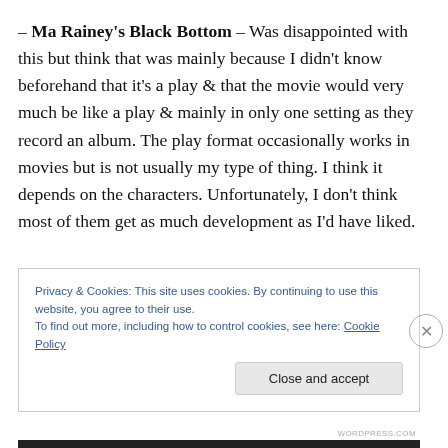– Ma Rainey's Black Bottom – Was disappointed with this but think that was mainly because I didn't know beforehand that it's a play & that the movie would very much be like a play & mainly in only one setting as they record an album. The play format occasionally works in movies but is not usually my type of thing. I think it depends on the characters. Unfortunately, I don't think most of them get as much development as I'd have liked.
Privacy & Cookies: This site uses cookies. By continuing to use this website, you agree to their use.
To find out more, including how to control cookies, see here: Cookie Policy
Close and accept